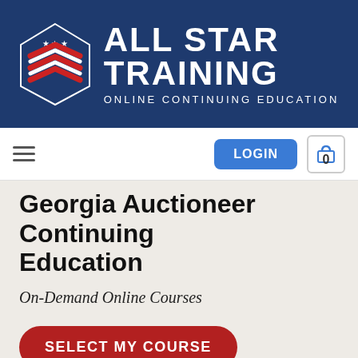[Figure (logo): All Star Training Online Continuing Education logo with a pentagon/chevron badge featuring stars and red/white chevron stripes on a dark navy background, with bold white text 'ALL STAR TRAINING' and 'ONLINE CONTINUING EDUCATION' subtitle]
[Figure (screenshot): Navigation bar with hamburger menu icon on left, LOGIN button (blue, rounded) and shopping cart icon showing '0' on right]
Georgia Auctioneer Continuing Education
On-Demand Online Courses
SELECT MY COURSE